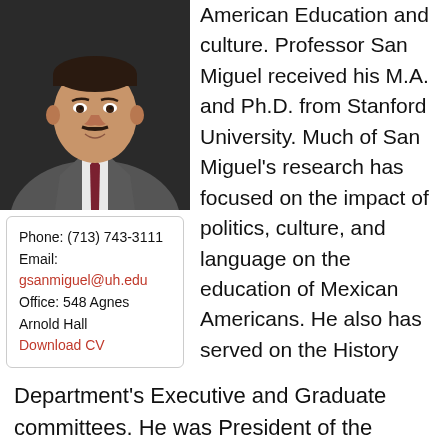[Figure (photo): Professional headshot of a middle-aged Hispanic man in a gray suit and dark red tie, smiling, with a mustache, against a dark background.]
Phone: (713) 743-3111
Email: gsanmiguel@uh.edu
Office: 548 Agnes Arnold Hall
Download CV
American Education and culture. Professor San Miguel received his M.A. and Ph.D. from Stanford University. Much of San Miguel's research has focused on the impact of politics, culture, and language on the education of Mexican Americans. He also has served on the History Department's Executive and Graduate committees. He was President of the National Association of Chicana and Chicano Studies and has served on the Board of Directors for the Institute for the History of Texas Music at Southwestern Texas State University